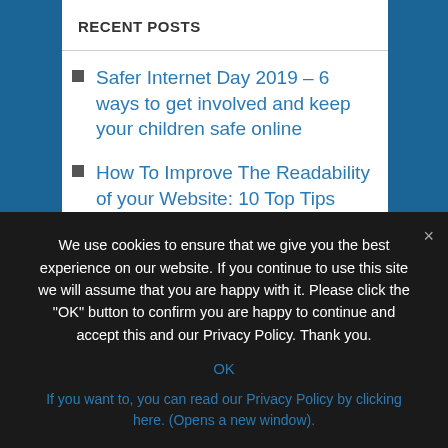RECENT POSTS
Safer Internet Day 2019 – 6 ways to get involved and keep your children safe online
How To Improve The Readability of your Website: 10 Top Tips
Affiliate Marketing 5 Pillars Of Progress
The Best Royalty-Free Stock Photos To Use In Your Blog
We use cookies to ensure that we give you the best experience on our website. If you continue to use this site we will assume that you are happy with it. Please click the "OK" button to confirm you are happy to continue and accept this and our Privacy Policy. Thank you.
OK
If you want to, you can read our Privacy Policy by clicking here. (Opens a new window).